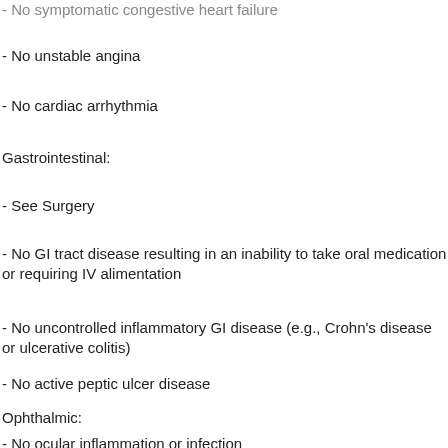- No symptomatic congestive heart failure
- No unstable angina
- No cardiac arrhythmia
Gastrointestinal:
- See Surgery
- No GI tract disease resulting in an inability to take oral medication or requiring IV alimentation
- No uncontrolled inflammatory GI disease (e.g., Crohn's disease or ulcerative colitis)
- No active peptic ulcer disease
Ophthalmic:
- No ocular inflammation or infection